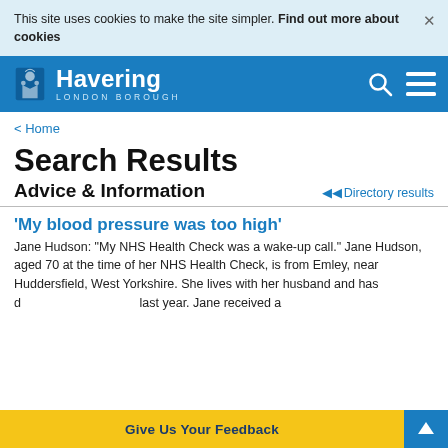This site uses cookies to make the site simpler. Find out more about cookies
[Figure (logo): Havering London Borough logo with coat of arms on blue header bar with search and menu icons]
< Home
Search Results
Advice & Information
Directory results
'My blood pressure was too high'
Jane Hudson: "My NHS Health Check was a wake-up call." Jane Hudson, aged 70 at the time of her NHS Health Check, is from Emley, near Huddersfield, West Yorkshire. She lives with her husband and has d... last year. Jane received a
Give Us Your Feedback